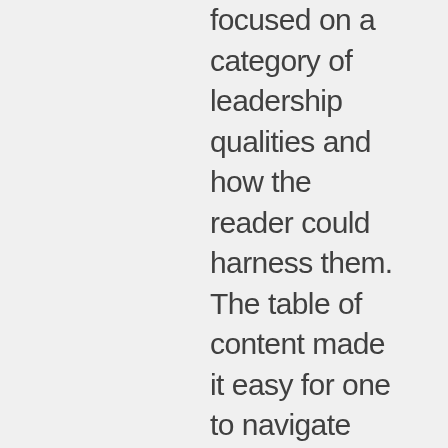focused on a category of leadership qualities and how the reader could harness them. The table of content made it easy for one to navigate through to the qualities they were interested in without having to read the entire book to locate them. I immensely enjoyed reading this book, and it covered a wide range of topics I found to be interesting, such as clinical intuition and observational skills. My vocabulary greatly benefited from reading this book, and my understanding of what it means to be a leader